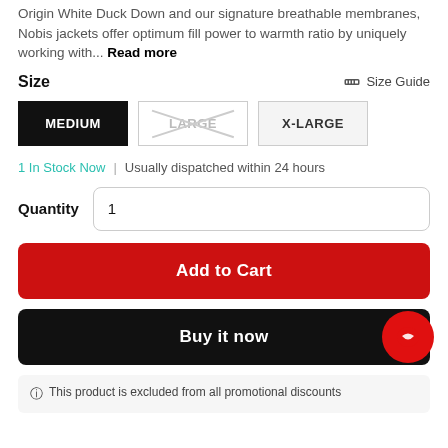Origin White Duck Down and our signature breathable membranes, Nobis jackets offer optimum fill power to warmth ratio by uniquely working with... Read more
Size  Size Guide
MEDIUM  LARGE  X-LARGE
1 In Stock Now  |  Usually dispatched within 24 hours
Quantity  1
Add to Cart
Buy it now
This product is excluded from all promotional discounts